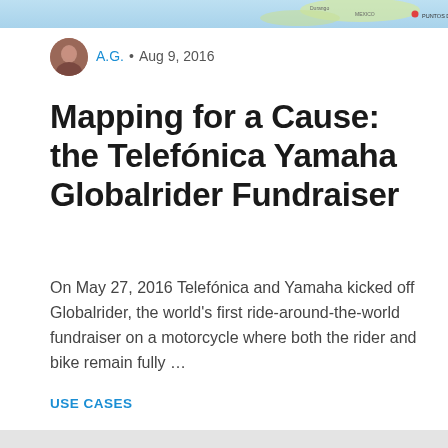[Figure (map): Top banner showing a partial map with geographic labels and a red dot legend marker labeled 'PUNTOS DE INTERES']
A.G. • Aug 9, 2016
Mapping for a Cause: the Telefónica Yamaha Globalrider Fundraiser
On May 27, 2016 Telefónica and Yamaha kicked off Globalrider, the world's first ride-around-the-world fundraiser on a motorcycle where both the rider and bike remain fully …
USE CASES
[Figure (photo): Gray image placeholder with a broken image icon]